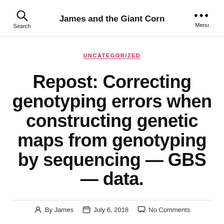James and the Giant Corn
UNCATEGORIZED
Repost: Correcting genotyping errors when constructing genetic maps from genotyping by sequencing — GBS — data.
By James   July 6, 2018   No Comments